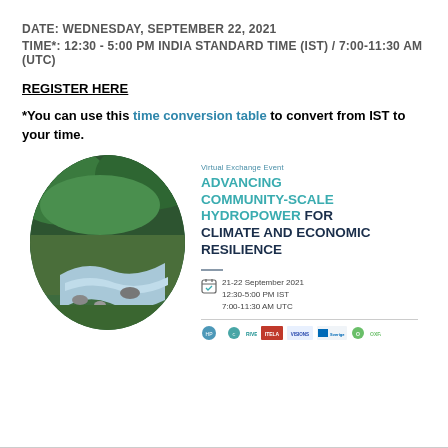DATE:  WEDNESDAY, SEPTEMBER 22, 2021
TIME*:  12:30 - 5:00 PM INDIA STANDARD TIME (IST) / 7:00-11:30 AM (UTC)
REGISTER HERE
*You can use this time conversion table to convert from IST to your time.
[Figure (infographic): Event flyer for 'Advancing Community-Scale Hydropower for Climate and Economic Resilience', a Virtual Exchange Event on 21-22 September 2021, 12:30-5:00 PM IST / 7:00-11:30 AM UTC. Features a circular photo of a river in a forested valley, event title in teal and dark blue, date/time info with calendar icon, and logos of partner organizations (HPNet, Rivers, ITELA, Visions, Sida, Oxfam).]